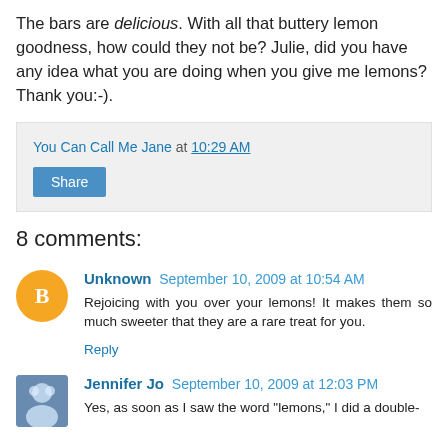The bars are delicious. With all that buttery lemon goodness, how could they not be? Julie, did you have any idea what you are doing when you give me lemons? Thank you:-).
You Can Call Me Jane at 10:29 AM
Share
8 comments:
Unknown September 10, 2009 at 10:54 AM
Rejoicing with you over your lemons! It makes them so much sweeter that they are a rare treat for you.
Reply
Jennifer Jo September 10, 2009 at 12:03 PM
Yes, as soon as I saw the word "lemons," I did a double-